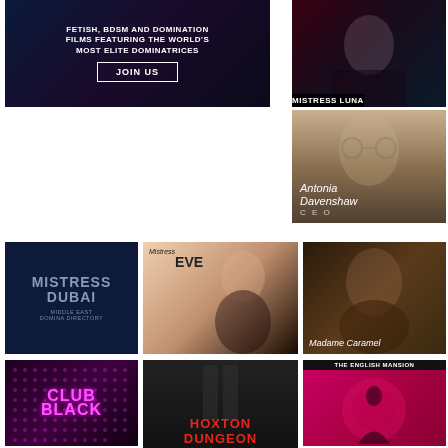[Figure (photo): Dark advertisement banner: FETISH, BDSM AND DOMINATION FILMS FEATURING THE WORLD'S MOST ELITE DOMINATRICES with JOIN US button]
[Figure (photo): Advertisement photo of woman in black lingerie labeled MISTRESS LUNA]
[Figure (photo): Advertisement photo of blonde woman with glasses labeled Antonia Davenshaw CEO]
[Figure (illustration): Dark blue advertisement: MISTRESS DUBAI MIDDLE EAST DOMINA DIRECTORY]
[Figure (photo): Advertisement photo with text Mistress EVE]
[Figure (photo): Advertisement photo labeled Madame Caramel]
[Figure (photo): Dark club advertisement with pink neon text CLUB BLACK]
[Figure (photo): Dark advertisement with red text HOXTON DUNGEON]
[Figure (illustration): THE ENGLISH MANSION advertisement with pink background]